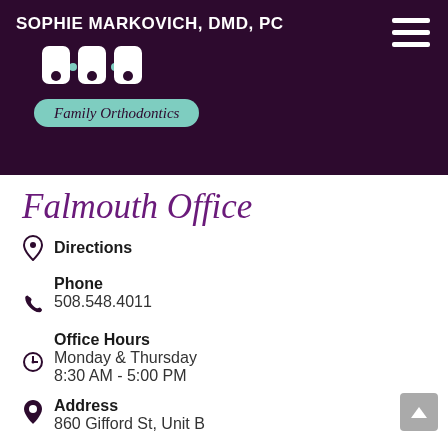SOPHIE MARKOVICH, DMD, PC — Family Orthodontics
Falmouth Office
Directions
Phone
508.548.4011
Office Hours
Monday & Thursday
8:30 AM - 5:00 PM
Address
860 Gifford St, Unit B